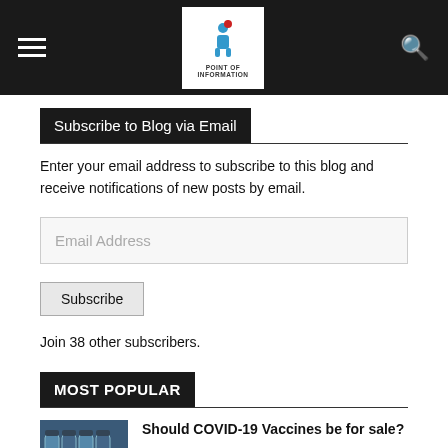Point of Information – navigation header with logo
Subscribe to Blog via Email
Enter your email address to subscribe to this blog and receive notifications of new posts by email.
Email Address
Subscribe
Join 38 other subscribers.
MOST POPULAR
Should COVID-19 Vaccines be for sale? – Labour Article